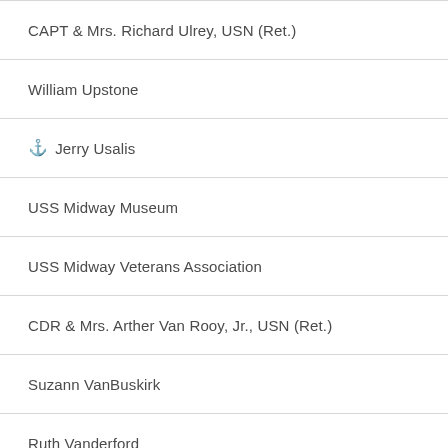CAPT & Mrs. Richard Ulrey, USN (Ret.)
William Upstone
⚓ Jerry Usalis
USS Midway Museum
USS Midway Veterans Association
CDR & Mrs. Arther Van Rooy, Jr., USN (Ret.)
Suzann VanBuskirk
Ruth Vanderford
Sharon Vasely
Martin & Jean Vehanen